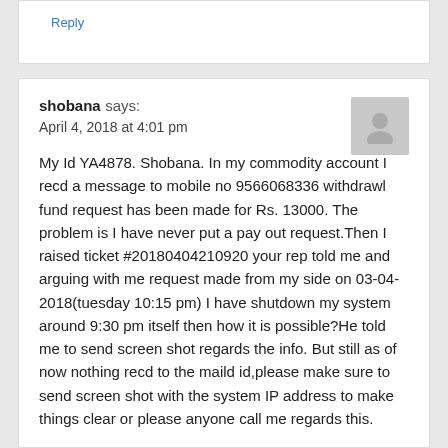Reply
shobana says:
April 4, 2018 at 4:01 pm
My Id YA4878. Shobana. In my commodity account I recd a message to mobile no 9566068336 withdrawl fund request has been made for Rs. 13000. The problem is I have never put a pay out request.Then I raised ticket #20180404210920 your rep told me and arguing with me request made from my side on 03-04-2018(tuesday 10:15 pm) I have shutdown my system around 9:30 pm itself then how it is possible?He told me to send screen shot regards the info. But still as of now nothing recd to the maild id,please make sure to send screen shot with the system IP address to make things clear or please anyone call me regards this.